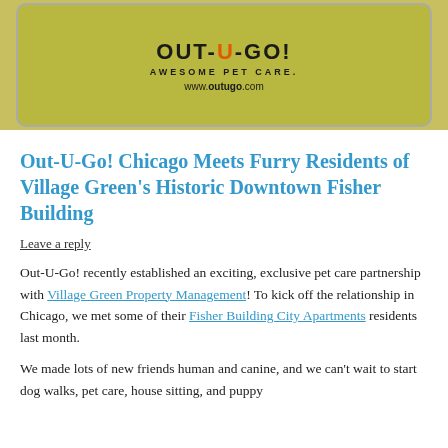[Figure (photo): Photo of an Out-U-Go branded green bag/vest showing text 'AWESOME PET CARE.' and 'www.outugo.com' on a yellow-green background]
Out-U-Go! Chicago Meets Furry Residents of Village Green's Historic Downtown Fisher Building
Leave a reply
Out-U-Go! recently established an exciting, exclusive pet care partnership with Village Green Property Management! To kick off the relationship in Chicago, we met some of their Fisher Building City Apartments residents last month.
We made lots of new friends human and canine, and we can't wait to start dog walks, pet care, house sitting, and puppy...